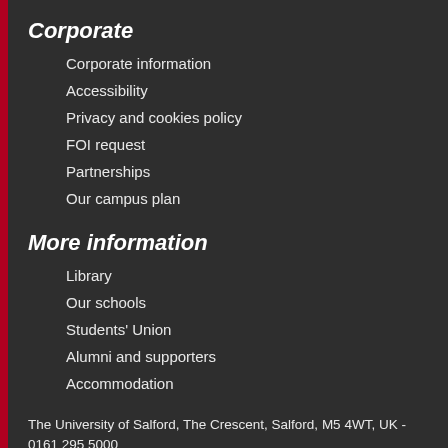Corporate
Corporate information
Accessibility
Privacy and cookies policy
FOI request
Partnerships
Our campus plan
More information
Library
Our schools
Students' Union
Alumni and supporters
Accommodation
The University of Salford, The Crescent, Salford, M5 4WT, UK - 0161 295 5000
[Figure (illustration): Twitter and Facebook social media icons (white circles with bird and f logos)]